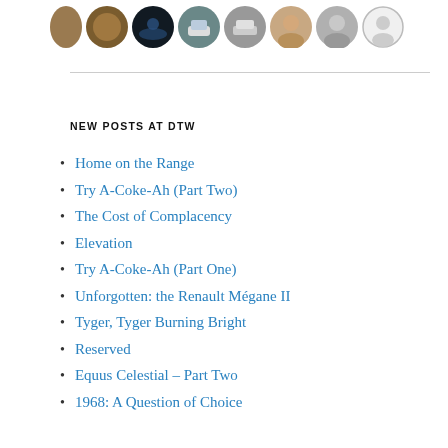[Figure (other): Row of circular avatar/profile images at the top of the page]
NEW POSTS AT DTW
Home on the Range
Try A-Coke-Ah (Part Two)
The Cost of Complacency
Elevation
Try A-Coke-Ah (Part One)
Unforgotten: the Renault Mégane II
Tyger, Tyger Burning Bright
Reserved
Equus Celestial – Part Two
1968: A Question of Choice